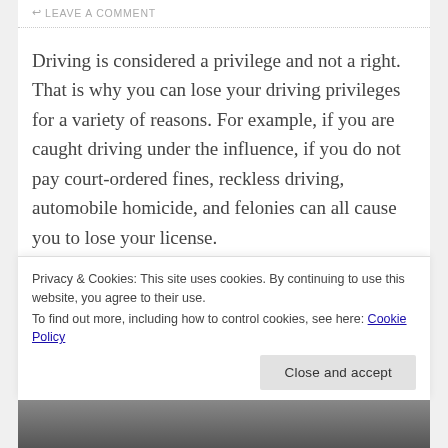LEAVE A COMMENT
Driving is considered a privilege and not a right. That is why you can lose your driving privileges for a variety of reasons. For example, if you are caught driving under the influence, if you do not pay court-ordered fines, reckless driving, automobile homicide, and felonies can all cause you to lose your license.
If you are caught driving on a suspended license, then it is a good idea for you to call a criminal attorney. There are many negative consequences that can result if you are caught driving...
Privacy & Cookies: This site uses cookies. By continuing to use this website, you agree to their use.
To find out more, including how to control cookies, see here: Cookie Policy
Close and accept